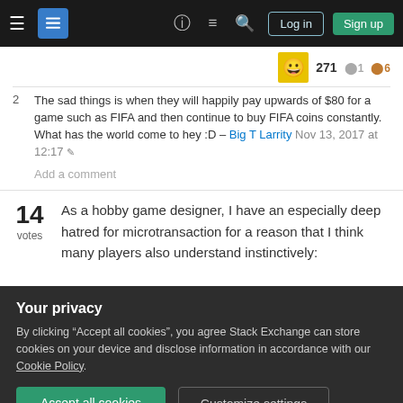Stack Exchange navigation bar with hamburger menu, logo, help, chat, search icons, Log in and Sign up buttons
271 ●1 ●6
2  The sad things is when they will happily pay upwards of $80 for a game such as FIFA and then continue to buy FIFA coins constantly. What has the world come to hey :D – Big T Larrity Nov 13, 2017 at 12:17
Add a comment
14 votes  As a hobby game designer, I have an especially deep hatred for microtransaction for a reason that I think many players also understand instinctively:
Your privacy
By clicking "Accept all cookies", you agree Stack Exchange can store cookies on your device and disclose information in accordance with our Cookie Policy.
Accept all cookies   Customize settings
there will be soft or hard barriers that are best